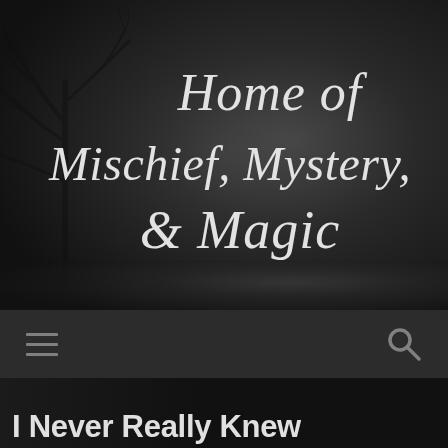[Figure (illustration): Dark, moody website header banner with a misty forest background, bare tree silhouette on the left, and large cursive text reading 'Home of Mischief, Mystery, & Magic' in white against a dark grey background.]
[Figure (screenshot): Navigation bar with dark grey background showing a hamburger menu icon on the left and a search icon on the right.]
I Never Really Knew